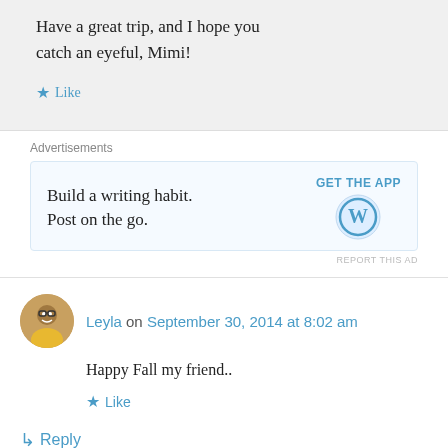Have a great trip, and I hope you catch an eyeful, Mimi!
Like
Advertisements
[Figure (screenshot): WordPress advertisement: 'Build a writing habit. Post on the go.' with GET THE APP button and WordPress logo]
Leyla on September 30, 2014 at 8:02 am
Happy Fall my friend..
Like
Reply
markbialczak on September 30, 2014 at 8:07